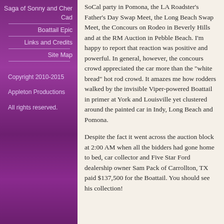Saga of Sonny and Cher Cad
Boattail Epic
Links and Credits
Site Map
Copyright 2010-2015
Appleton Productions
All rights reserved.
SoCal party in Pomona, the LA Roadster's Father's Day Swap Meet, the Long Beach Swap Meet, the Concours on Rodeo in Beverly Hills and at the RM Auction in Pebble Beach. I'm happy to report that reaction was positive and powerful. In general, however, the concours crowd appreciated the car more than the "white bread" hot rod crowd. It amazes me how rodders walked by the invisible Viper-powered Boattail in primer at York and Louisville yet clustered around the painted car in Indy, Long Beach and Pomona.
Despite the fact it went across the auction block at 2:00 AM when all the bidders had gone home to bed, car collector and Five Star Ford dealership owner Sam Pack of Carrollton, TX paid $137,500 for the Boattail. You should see his collection!